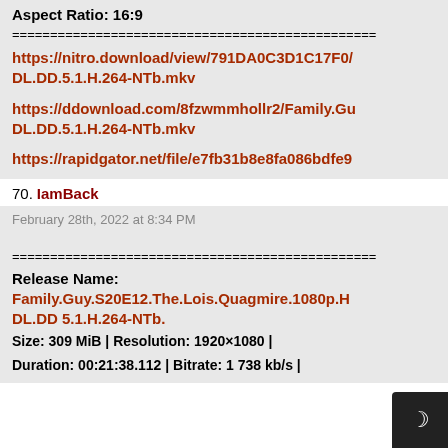Aspect Ratio: 16:9
================================================
https://nitro.download/view/791DA0C3D1C17F0/... DL.DD.5.1.H.264-NTb.mkv
https://ddownload.com/8fzwmmhollr2/Family.Gu... DL.DD.5.1.H.264-NTb.mkv
https://rapidgator.net/file/e7fb31b8e8fa086bdfe9...
70. IamBack
February 28th, 2022 at 8:34 PM
================================================
Release Name:
Family.Guy.S20E12.The.Lois.Quagmire.1080p.H... DL.DD 5.1.H.264-NTb.
Size: 309 MiB | Resolution: 1920×1080 | Duration: 00:21:38.112 | Bitrate: 1 738 kb/s |